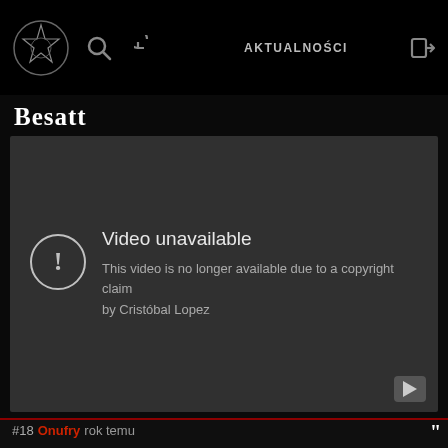AKTUALNOŚCI
Besatt
[Figure (screenshot): YouTube video unavailable embed showing: 'Video unavailable — This video is no longer available due to a copyright claim by Cristóbal Lopez']
#18 Onufry rok temu
Zastanawiające jak ktokolwiek posiadający włosy łonowe może się czymś takim podniecać albo co gorsza to nagrywać
#19 yog rok temu
Obadałem sobie z ciekawości ten nowy kawałek o Bafomecim